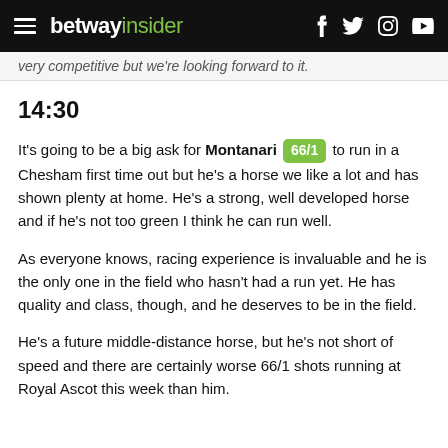betway insider
very competitive but we're looking forward to it.
14:30
It's going to be a big ask for Montanari 66/1 to run in a Chesham first time out but he's a horse we like a lot and has shown plenty at home. He's a strong, well developed horse and if he's not too green I think he can run well.
As everyone knows, racing experience is invaluable and he is the only one in the field who hasn't had a run yet. He has quality and class, though, and he deserves to be in the field.
He's a future middle-distance horse, but he's not short of speed and there are certainly worse 66/1 shots running at Royal Ascot this week than him.